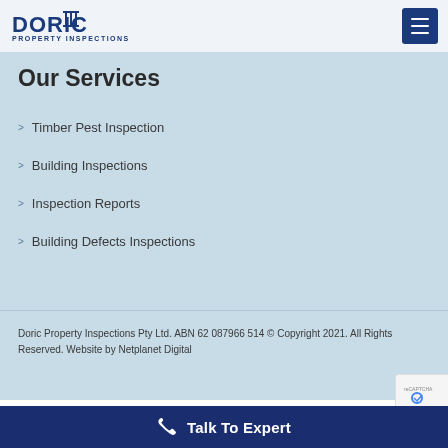Doric Property Inspections
Our Services
Timber Pest Inspection
Building Inspections
Inspection Reports
Building Defects Inspections
Doric Property Inspections Pty Ltd. ABN 62 087966 514 © Copyright 2021. All Rights Reserved. Website by Netplanet Digital
Talk To Expert